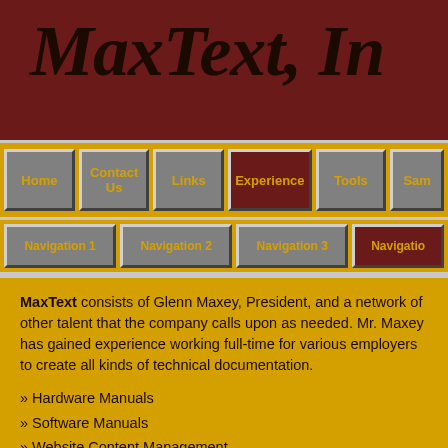MaxText, Inc
Home | Contact Us | Links | Experience | Tools | Sam
Navigation 1 | Navigation 2 | Navigation 3 | Navigation
MaxText consists of Glenn Maxey, President, and a network of other talent that the company calls upon as needed. Mr. Maxey has gained experience working full-time for various employers to create all kinds of technical documentation.
» Hardware Manuals
» Software Manuals
» Website Content Management
» Application Programmer Interfaces (AP
Work Experience
Analog Devices, Inc.